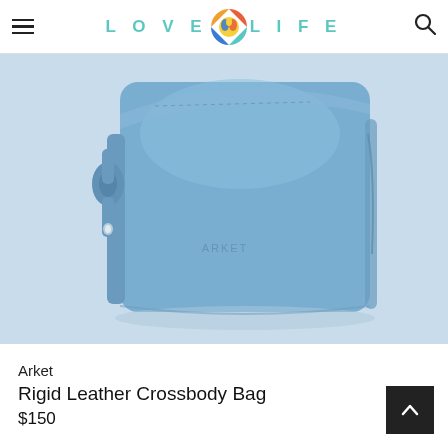LOVE LIFE (logo with icon)
[Figure (photo): A light blue leather crossbody bag (Arket Rigid Leather Crossbody Bag) shown on a light blue background. The bag has a structured rectangular shape with a knotted strap detail on the left side and subtle branding on the front.]
Arket
Rigid Leather Crossbody Bag
$150